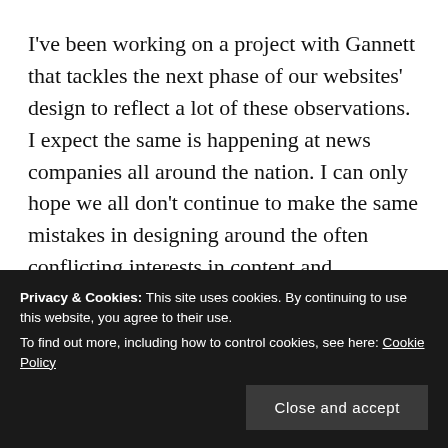I've been working on a project with Gannett that tackles the next phase of our websites' design to reflect a lot of these observations. I expect the same is happening at news companies all around the nation. I can only hope we all don't continue to make the same mistakes in designing around the often conflicting interests in content and advertising.
The past couple of weeks have seen the roll out of a few new looks and ideas for online news presentation that
own ways, seem to fit what we know users want…and
Privacy & Cookies: This site uses cookies. By continuing to use this website, you agree to their use.
To find out more, including how to control cookies, see here: Cookie Policy